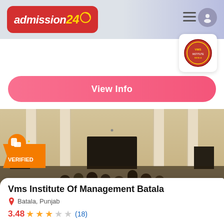[Figure (screenshot): Admission24 website header with red logo box, user icon and hamburger menu on a light grey-blue gradient background]
[Figure (logo): VMS Institute circular logo/seal in red and gold on white card, top right]
View Info
[Figure (photo): Exterior photo of Vms Institute of Management Batala building with pillars and students standing in front, with an orange VERIFIED badge overlay]
Vms Institute Of Management Batala
Batala, Punjab
3.48 ★★★☆☆ (18)
Starting Fees Average   admission Date
₹ 30,000   --